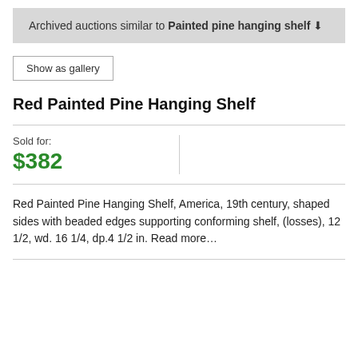Archived auctions similar to Painted pine hanging shelf ↓
Show as gallery
Red Painted Pine Hanging Shelf
Sold for: $382
Red Painted Pine Hanging Shelf, America, 19th century, shaped sides with beaded edges supporting conforming shelf, (losses), 12 1/2, wd. 16 1/4, dp.4 1/2 in. Read more…